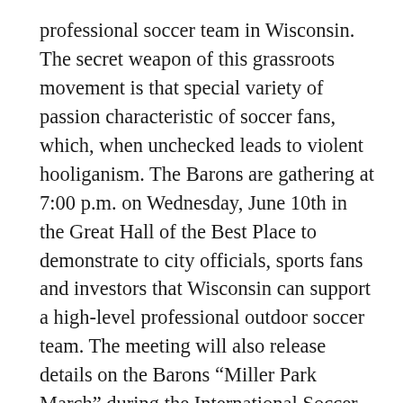professional soccer team in Wisconsin. The secret weapon of this grassroots movement is that special variety of passion characteristic of soccer fans, which, when unchecked leads to violent hooliganism. The Barons are gathering at 7:00 p.m. on Wednesday, June 10th in the Great Hall of the Best Place to demonstrate to city officials, sports fans and investors that Wisconsin can support a high-level professional outdoor soccer team. The meeting will also release details on the Barons “Miller Park March” during the International Soccer Match between Newcastle United F.C. Vs. Club Atlas, being held on Tuesday, July 14 at Miller Park.